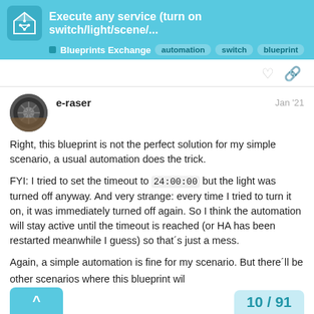Execute any service (turn on switch/light/scene/... — Blueprints Exchange — automation switch blueprint
Right, this blueprint is not the perfect solution for my simple scenario, a usual automation does the trick.

FYI: I tried to set the timeout to 24:00:00 but the light was turned off anyway. And very strange: every time I tried to turn it on, it was immediately turned off again. So I think the automation will stay active until the timeout is reached (or HA has been restarted meanwhile I guess) so that´s just a mess.

Again, a simple automation is fine for my scenario. But there´ll be other scenarios where this blueprint will be just perfect. I'll keep it 🙂
10 / 91